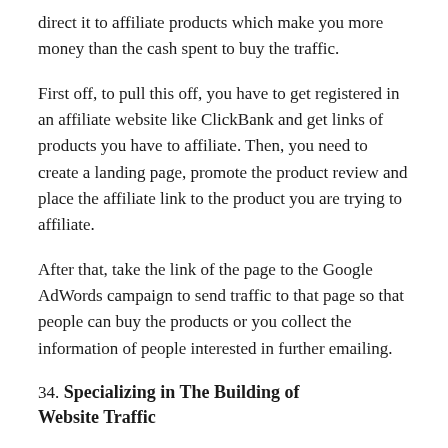direct it to affiliate products which make you more money than the cash spent to buy the traffic.
First off, to pull this off, you have to get registered in an affiliate website like ClickBank and get links of products you have to affiliate. Then, you need to create a landing page, promote the product review and place the affiliate link to the product you are trying to affiliate.
After that, take the link of the page to the Google AdWords campaign to send traffic to that page so that people can buy the products or you collect the information of people interested in further emailing.
34. Specializing in The Building of Website Traffic